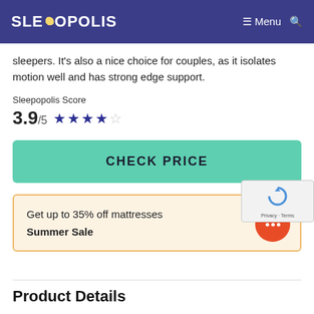SLEEPOPOLIS  ≡ Menu 🔍
sleepers. It's also a nice choice for couples, as it isolates motion well and has strong edge support.
Sleepopolis Score
3.9 /5 ★★★★☆
CHECK PRICE
Get up to 35% off mattresses
Summer Sale
Product Details